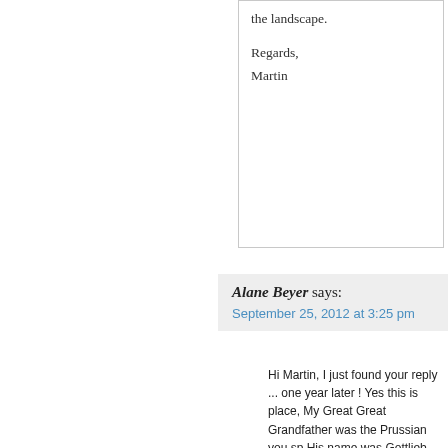the landscape.

Regards,
Martin
Alane Beyer says:
September 25, 2012 at 3:25 pm
Hi Martin, I just found your reply ... one year later ! Yes this is place, My Great Great Grandfather was the Prussian you sp His name was Gottlieb Ferdinand Beyer, and he was born in
Gottlieb came from Preussisch Stargardt near Dantzig in P he was listed as a Merchant" Preussisch Stargardt translate means Prussian Stargard, which is now Starogard Gdanski i Poland.
I also just found this link and it states in the 1851 Ordnance S map Gottlieb Beyer was living in a Villa called Ash Leigh http://wwww.walkingbook.co.uk/liverpool/anfield/pages/vil